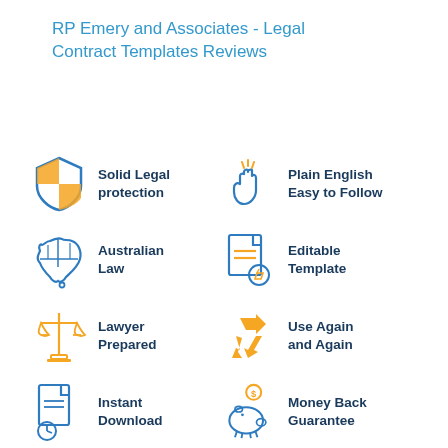RP Emery and Associates - Legal Contract Templates Reviews
[Figure (infographic): Six feature icons with labels: Solid Legal protection (shield with orange quarters), Plain English Easy to Follow (hand with sparkle), Australian Law (map of Australia), Editable Template (document with pencil), Lawyer Prepared (scales of justice), Use Again and Again (recycle arrows), Instant Download (document with clock), Money Back Guarantee (piggy bank with dollar sign)]